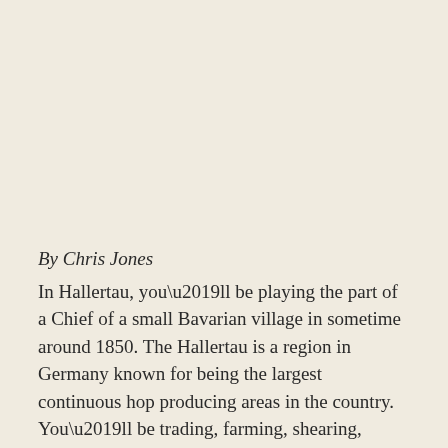By Chris Jones
In Hallertau, you’ll be playing the part of a Chief of a small Bavarian village in sometime around 1850. The Hallertau is a region in Germany known for being the largest continuous hop producing areas in the country. You’ll be trading, farming, shearing, harvesting, and improving your village in order to gain the most victory points and make history!
Buy your copy here!